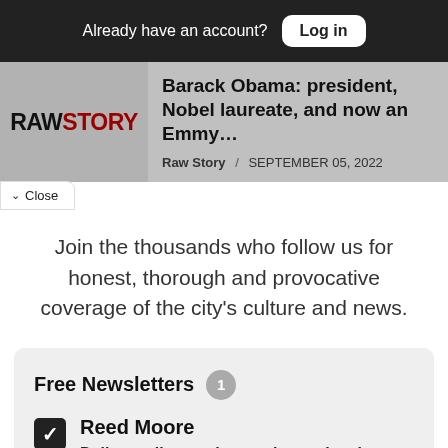Already have an account? Log in
Barack Obama: president, Nobel laureate, and now an Emmy...
Raw Story / SEPTEMBER 05, 2022
Close
Join the thousands who follow us for honest, thorough and provocative coverage of the city's culture and news.
Free Newsletters 1
Reed Moore
Daily email wrapping up the top local news and events — linking to where you can read more, from Reed Moore, that clever linker